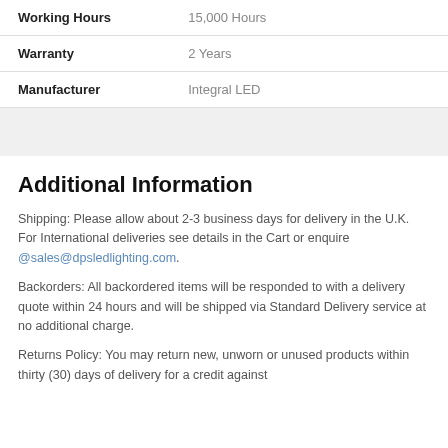| Working Hours | 15,000 Hours |
| Warranty | 2 Years |
| Manufacturer | Integral LED |
Additional Information
Shipping: Please allow about 2-3 business days for delivery in the U.K. For International deliveries see details in the Cart or enquire @sales@dpsledlighting.com.
Backorders: All backordered items will be responded to with a delivery quote within 24 hours and will be shipped via Standard Delivery service at no additional charge.
Returns Policy: You may return new, unworn or unused products within thirty (30) days of delivery for a credit against